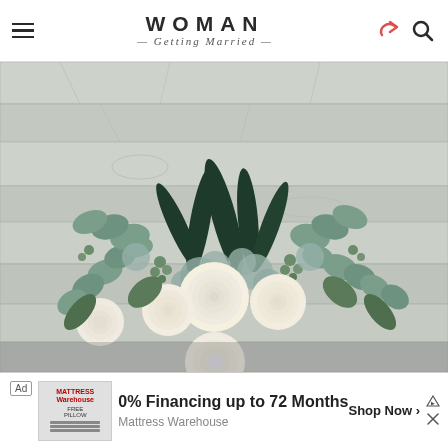WOMAN Getting Married
[Figure (photo): Wedding bridal bouquet with white/cream roses, eucalyptus, dusty blue flowers, and greenery arranged against a white-washed rustic wood plank background]
Ad | 0% Financing up to 72 Months | Mattress Warehouse | Shop Now >